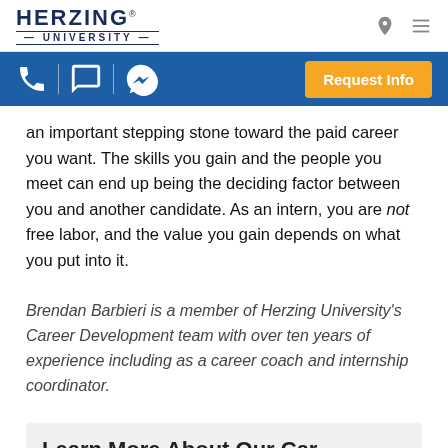[Figure (logo): Herzing University logo with location pin and hamburger menu icons]
[Figure (screenshot): Blue navigation bar with phone, chat, and messenger icons plus orange Request Info button]
an important stepping stone toward the paid career you want. The skills you gain and the people you meet can end up being the deciding factor between you and another candidate. As an intern, you are not free labor, and the value you gain depends on what you put into it.
Brendan Barbieri is a member of Herzing University's Career Development team with over ten years of experience including as a career coach and internship coordinator.
[Figure (screenshot): Bottom card area with Learn More About Our Career Programs heading partially visible and Chat with an Expert teal button]